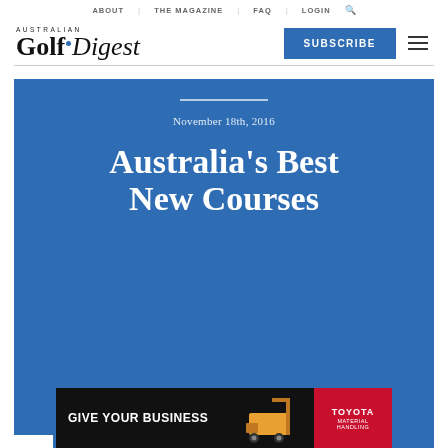ABOUT | THE MAGAZINE | FAQ | LOGIN 🔍
[Figure (logo): Australian Golf Digest logo with blue dot above 'i' in Digest]
SUBSCRIBE
November 18th, 2016
Australia's Best New Courses
[Figure (photo): Toyota Material Handling advertisement banner showing a forklift with text 'GIVE YOUR BUSINESS']